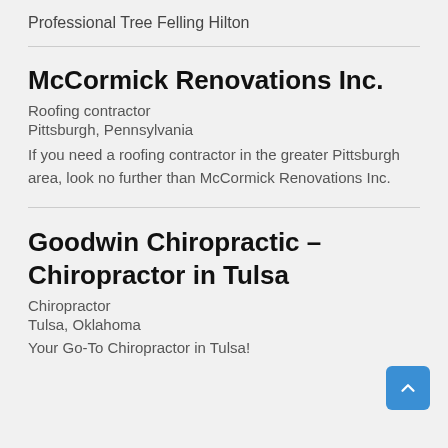Professional Tree Felling Hilton
McCormick Renovations Inc.
Roofing contractor
Pittsburgh, Pennsylvania
If you need a roofing contractor in the greater Pittsburgh area, look no further than McCormick Renovations Inc.
Goodwin Chiropractic – Chiropractor in Tulsa
Chiropractor
Tulsa, Oklahoma
Your Go-To Chiropractor in Tulsa!